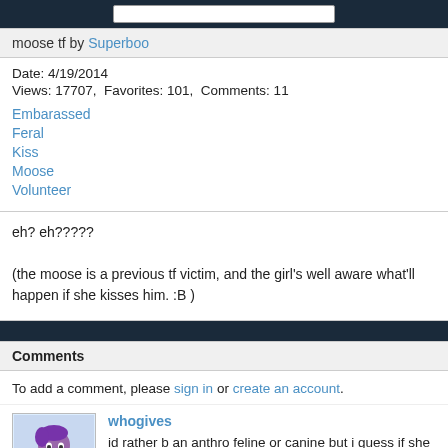moose tf by Superboo
Date: 4/19/2014
Views: 17707,  Favorites: 101,  Comments: 11
Embarassed
Feral
Kiss
Moose
Volunteer
eh? eh?????

(the moose is a previous tf victim, and the girl's well aware what'll happen if she kisses him. :B )
Comments
To add a comment, please sign in or create an account.
whogives
id rather b an anthro feline or canine but i guess if she wants 2 b a moose it b a simpler life then human at time